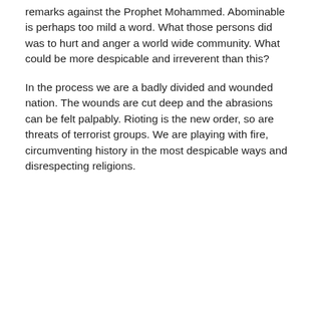remarks against the Prophet Mohammed. Abominable is perhaps too mild a word. What those persons did was to hurt and anger a world wide community. What could be more despicable and irreverent than this?
In the process we are a badly divided and wounded nation. The wounds are cut deep and the abrasions can be felt palpably. Rioting is the new order, so are threats of terrorist groups. We are playing with fire, circumventing history in the most despicable ways and disrespecting religions.